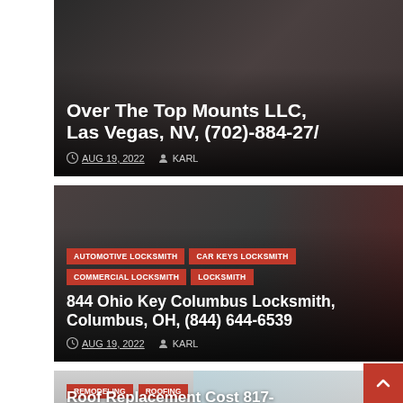[Figure (screenshot): Dark-background card showing partial title 'Over The Top Mounts LLC, Las Vegas, NV, (702)-884-27/' with date AUG 19, 2022 and author KARL]
Over The Top Mounts LLC, Las Vegas, NV, (702)-884-27/
AUG 19, 2022  KARL
[Figure (screenshot): Dark card with tags: AUTOMOTIVE LOCKSMITH, CAR KEYS LOCKSMITH, COMMERCIAL LOCKSMITH, LOCKSMITH and title '844 Ohio Key Columbus Locksmith, Columbus, OH, (844) 644-6539', date AUG 19, 2022, author KARL]
AUTOMOTIVE LOCKSMITH  CAR KEYS LOCKSMITH  COMMERCIAL LOCKSMITH  LOCKSMITH
844 Ohio Key Columbus Locksmith, Columbus, OH, (844) 644-6539
AUG 19, 2022  KARL
[Figure (screenshot): Partial card at bottom with tags REMODELING, ROOFING and partial title 'Roof Replacement Cost 817-667-1860']
REMODELING  ROOFING
Roof Replacement Cost 817-667-1860